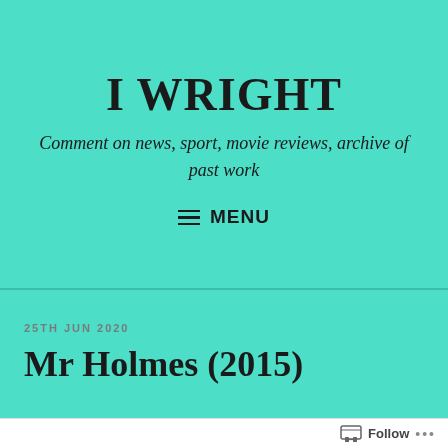I WRIGHT
Comment on news, sport, movie reviews, archive of past work
≡ MENU
25TH JUN 2020
Mr Holmes (2015)
Follow ...